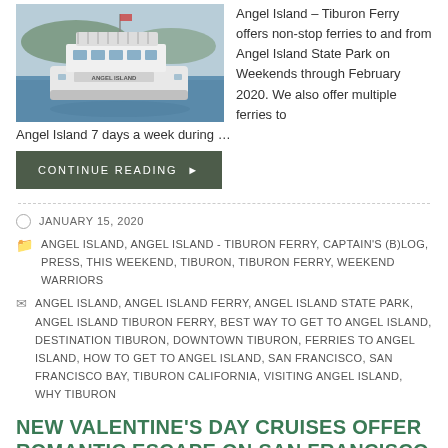[Figure (photo): A white ferry boat labeled 'ANGEL ISLAND' traveling on water with hills in the background.]
Angel Island – Tiburon Ferry offers non-stop ferries to and from Angel Island State Park on Weekends through February 2020. We also offer multiple ferries to Angel Island 7 days a week during …
CONTINUE READING
JANUARY 15, 2020
ANGEL ISLAND, ANGEL ISLAND - TIBURON FERRY, CAPTAIN'S (B)LOG, PRESS, THIS WEEKEND, TIBURON, TIBURON FERRY, WEEKEND WARRIORS
ANGEL ISLAND, ANGEL ISLAND FERRY, ANGEL ISLAND STATE PARK, ANGEL ISLAND TIBURON FERRY, BEST WAY TO GET TO ANGEL ISLAND, DESTINATION TIBURON, DOWNTOWN TIBURON, FERRIES TO ANGEL ISLAND, HOW TO GET TO ANGEL ISLAND, SAN FRANCISCO, SAN FRANCISCO BAY, TIBURON CALIFORNIA, VISITING ANGEL ISLAND, WHY TIBURON
NEW VALENTINE'S DAY CRUISES OFFER ROMANTIC ESCAPE ON SAN FRANCISCO BAY